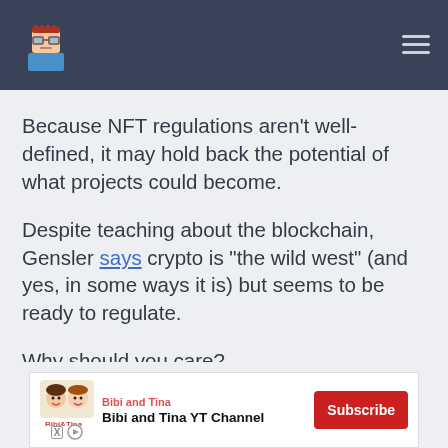[Logo: pixel art character with glasses] [Hamburger menu icon]
Because NFT regulations aren’t well-defined, it may hold back the potential of what projects could become.
Despite teaching about the blockchain, Gensler says crypto is “the wild west” (and yes, in some ways it is) but seems to be ready to regulate.
Why should you care?
[Figure (other): Advertisement banner: Bibi and Tina YT Channel with Subscribe button]